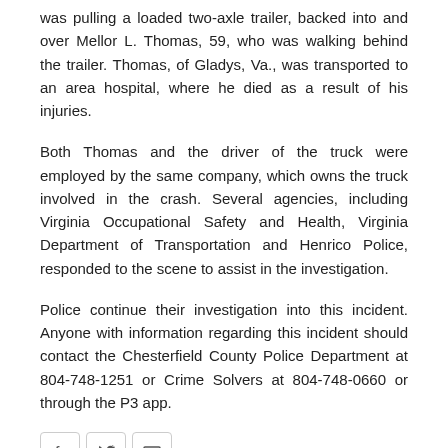was pulling a loaded two-axle trailer, backed into and over Mellor L. Thomas, 59, who was walking behind the trailer. Thomas, of Gladys, Va., was transported to an area hospital, where he died as a result of his injuries.
Both Thomas and the driver of the truck were employed by the same company, which owns the truck involved in the crash. Several agencies, including Virginia Occupational Safety and Health, Virginia Department of Transportation and Henrico Police, responded to the scene to assist in the investigation.
Police continue their investigation into this incident. Anyone with information regarding this incident should contact the Chesterfield County Police Department at 804-748-1251 or Crime Solvers at 804-748-0660 or through the P3 app.
[Figure (infographic): Social sharing icons: Facebook, Twitter, Email]
← Previous | Police Investigate Shooting
Next ⇒ | Police Continue to Investigate Shooting